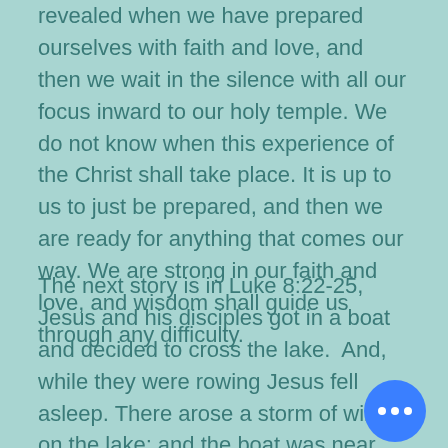revealed when we have prepared ourselves with faith and love, and then we wait in the silence with all our focus inward to our holy temple. We do not know when this experience of the Christ shall take place. It is up to us to just be prepared, and then we are ready for anything that comes our way. We are strong in our faith and love, and wisdom shall guide us through any difficulty.
The next story is in Luke 8:22-25, Jesus and his disciples got in a boat and decided to cross the lake.  And, while they were rowing Jesus fell asleep. There arose a storm of wind on the lake; and the boat was near sinking. And they came up and called out Teacher, our Teacher, we are perishing.